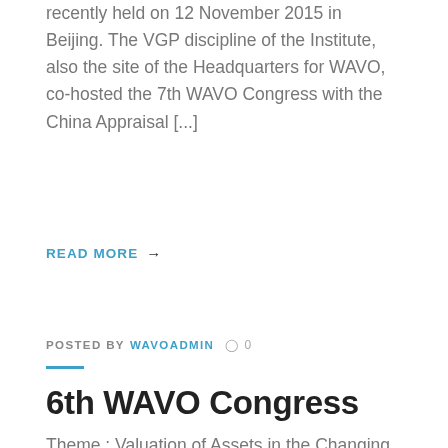recently held on 12 November 2015 in Beijing. The VGP discipline of the Institute, also the site of the Headquarters for WAVO, co-hosted the 7th WAVO Congress with the China Appraisal [...]
READ MORE →
POSTED BY WAVOADMIN ○ 0
6th WAVO Congress
Theme : Valuation of Assets in the Changing Global